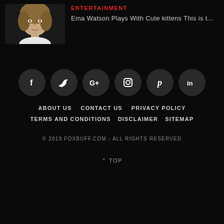[Figure (photo): Thumbnail photo of a woman (Emma Watson) with curly hair on dark background]
ENTERTAINMENT
Ema Watson Plays With Cute kittens This is t...
[Figure (infographic): Row of 6 social media icon circles: Facebook (f), Twitter (bird), Google+ (G+), Instagram (camera), Pinterest (P), LinkedIn (in)]
ABOUT US
CONTACT US
PRIVACY POLICY
TERMS AND CONDITIONS
DISCLAIMER
SITEMAP
© 2019 FOXBUFF.COM - ALL RIGHTS RESERVED
^ TOP